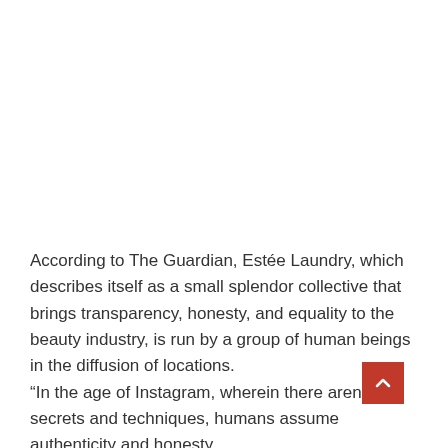According to The Guardian, Estée Laundry, which describes itself as a small splendor collective that brings transparency, honesty, and equality to the beauty industry, is run by a group of human beings in the diffusion of locations.
“In the age of Instagram, wherein there aren’t any secrets and techniques, humans assume authenticity and honesty